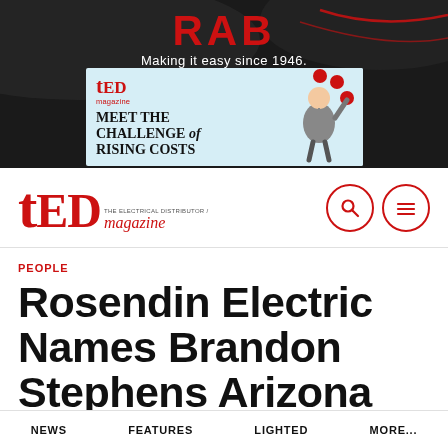[Figure (logo): RAB logo banner with text 'Making it easy since 1946.' on dark background with red accent lines]
[Figure (illustration): TED magazine advertisement: 'MEET THE CHALLENGE of RISING COSTS' with businessman juggling red balls, light blue background]
[Figure (logo): tED magazine logo with search and menu icons in navbar]
PEOPLE
Rosendin Electric Names Brandon Stephens Arizona
NEWS   FEATURES   LIGHTED   MORE...